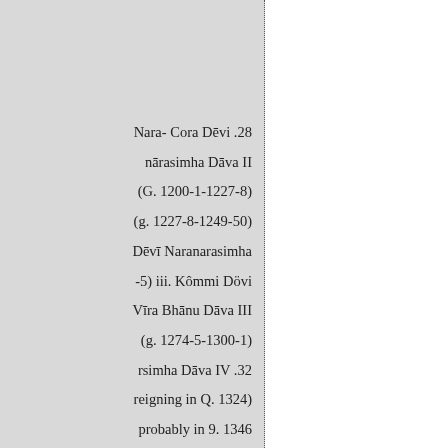Nara- Cora Dēvi .28
nārasimha Dāva II
(G. 1200-1-1227-8)
(g. 1227-8-1249-50)
Dēvī Naranarasimha
-5) iii. Kômmi Dövi
Vīra Bhānu Dāva III
(g. 1274-5-1300-1)
rsimha Dāva IV .32
reigning in Q. 1324)
probably in 9. 1346
1